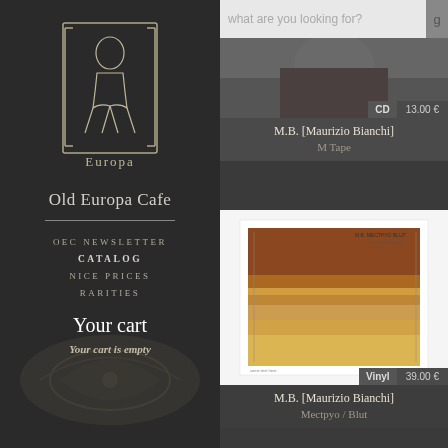[Figure (logo): Old Europa Cafe stylized logo mark showing decorative letters and Europa text]
Old Europa Cafe
OEC NEWSLETTER
CATALOG
NICE PRICES
RARITIES
Your cart
Your cart is empty
[Figure (screenshot): Search bar with placeholder text 'what are you looking for?']
[Figure (photo): Top portion of CD album cover for M.B. [Maurizio Bianchi] - M Tape showing dark toned portrait image]
CD   13.00 €
M.B. [Maurizio Bianchi]
M Tape
[Figure (photo): Vinyl album cover for M.B. [Maurizio Bianchi] - Mectpyo / Blut showing abstract warm toned image with text M.B. MECTPYO BLUT]
Vinyl   39.00 €
M.B. [Maurizio Bianchi]
Mectpyo / Blut